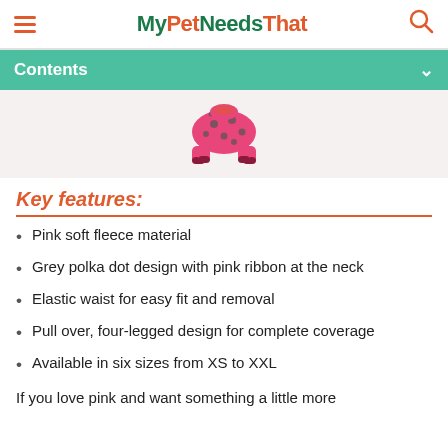MyPetNeedsThat
Contents
[Figure (photo): Pink polka dot dog pajamas/onesie with grey dots, photographed from behind showing four legs]
Key features:
Pink soft fleece material
Grey polka dot design with pink ribbon at the neck
Elastic waist for easy fit and removal
Pull over, four-legged design for complete coverage
Available in six sizes from XS to XXL
If you love pink and want something a little more